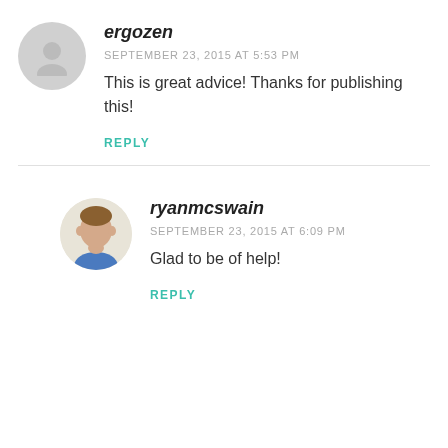ergozen
SEPTEMBER 23, 2015 AT 5:53 PM
This is great advice! Thanks for publishing this!
REPLY
[Figure (photo): Profile photo of ryanmcswain, a man in a blue shirt]
ryanmcswain
SEPTEMBER 23, 2015 AT 6:09 PM
Glad to be of help!
REPLY